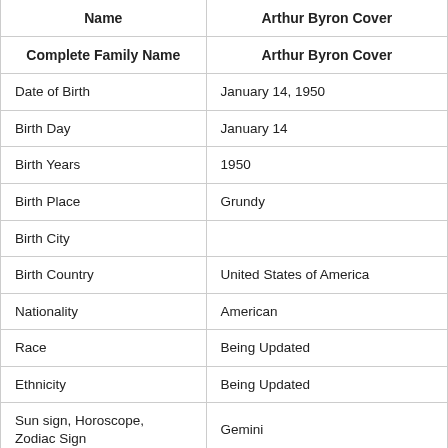| Name | Arthur Byron Cover |
| --- | --- |
| Complete Family Name | Arthur Byron Cover |
| Date of Birth | January 14, 1950 |
| Birth Day | January 14 |
| Birth Years | 1950 |
| Birth Place | Grundy |
| Birth City |  |
| Birth Country | United States of America |
| Nationality | American |
| Race | Being Updated |
| Ethnicity | Being Updated |
| Sun sign, Horoscope, Zodiac Sign | Gemini |
| Famous As | Writer |